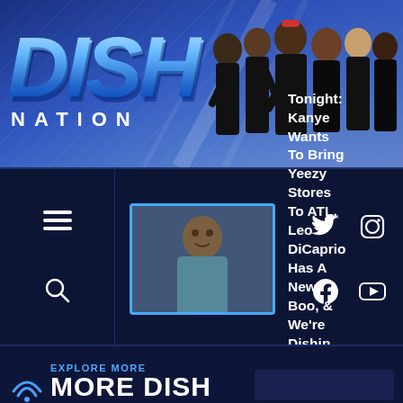[Figure (screenshot): Dish Nation logo with blue metallic lettering, DISH large italic above NATION spaced text]
[Figure (photo): Cast photo of Dish Nation hosts dressed in black, group of 6 people]
[Figure (photo): Thumbnail image of a man (Kanye West) in grey shirt]
Tonight: Kanye Wants To Bring Yeezy Stores To ATL, Leo DiCaprio Has A New Boo, & We're Dishin With TMZ's Harvey Levin!
EXPLORE MORE
MORE DISH